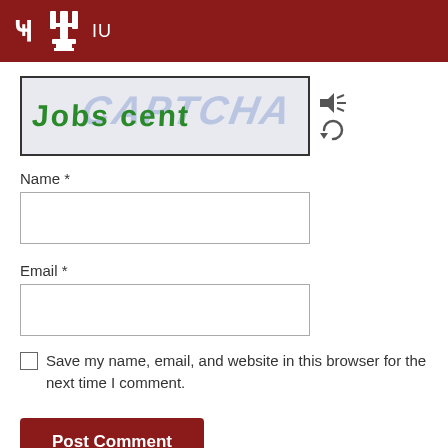IU
[Figure (screenshot): CAPTCHA image showing handwritten-style green text 'Jobs cent' on a blue-watermarked background, with audio and refresh icons to the right]
Name *
Email *
Save my name, email, and website in this browser for the next time I comment.
Post Comment